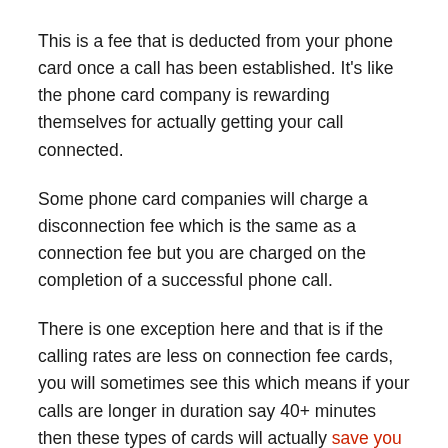This is a fee that is deducted from your phone card once a call has been established. It's like the phone card company is rewarding themselves for actually getting your call connected.
Some phone card companies will charge a disconnection fee which is the same as a connection fee but you are charged on the completion of a successful phone call.
There is one exception here and that is if the calling rates are less on connection fee cards, you will sometimes see this which means if your calls are longer in duration say 40+ minutes then these types of cards will actually save you money over the length of that call.
Outside of this, I would avoid them.